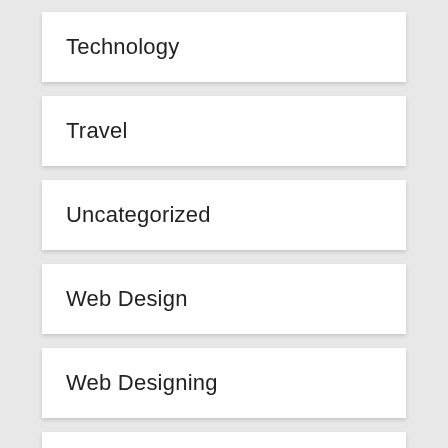Technology
Travel
Uncategorized
Web Design
Web Designing
Web Development
Web Hosting
Wedding